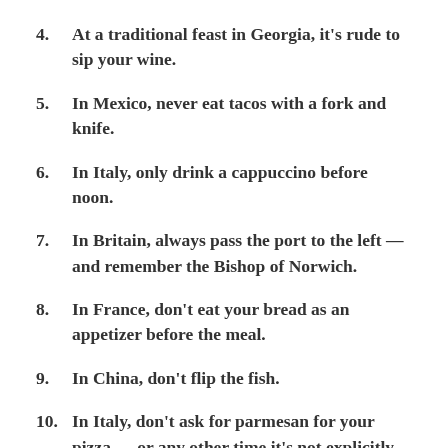4.  At a traditional feast in Georgia, it’s rude to sip your wine.
5.  In Mexico, never eat tacos with a fork and knife.
6.  In Italy, only drink a cappuccino before noon.
7.  In Britain, always pass the port to the left — and remember the Bishop of Norwich.
8.  In France, don’t eat your bread as an appetizer before the meal.
9.  In China, don’t flip the fish.
10.  In Italy, don’t ask for parmesan for your pizza — or any other time it’s not explicitly offered.